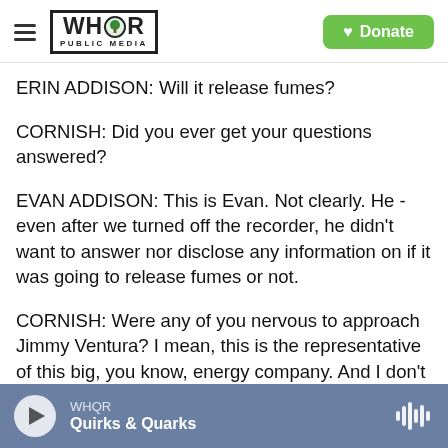[Figure (logo): WHQR Public Media logo with hamburger menu and green Donate button]
ERIN ADDISON: Will it release fumes?
CORNISH: Did you ever get your questions answered?
EVAN ADDISON: This is Evan. Not clearly. He - even after we turned off the recorder, he didn't want to answer nor disclose any information on if it was going to release fumes or not.
CORNISH: Were any of you nervous to approach Jimmy Ventura? I mean, this is the representative of this big, you know, energy company. And I don't know if you've done anything like that before.
WHQR  Quirks & Quarks